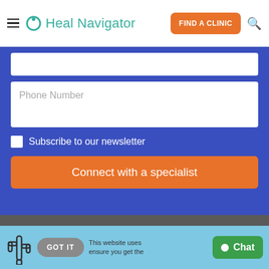Heal Navigator — FIND A CLINIC
[Figure (screenshot): Input field (partially visible at top)]
Phone Number
Subscribe to our newsletter
Connect with a specialist
[Figure (logo): Heal Navigator teal circular logo icon in gray footer area]
GOT IT   This website uses cookies to ensure you get the best experience.   Chat